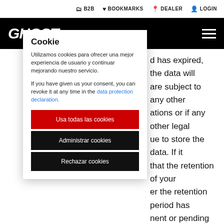B2B  BOOKMARKS  DEALER  LOGIN
[Figure (logo): GHOST brand logo in white italic text on black header bar with hamburger menu icon]
Cookie
Utilizamos cookies para ofrecer una mejor experiencia de usuario y continuar mejorando nuestro servicio.
If you have given us your consent, you can revoke it at any time in the data protection declaration.
Usa todas las cookies
Administrar cookies
Rechazar cookies
d has expired, the data will are subject to any other ations or if any other legal ue to store the data. If it that the retention of your er the retention period has nent or pending litigation), leted until the data have shall be without prejudice ry retention periods.